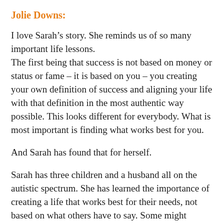Jolie Downs:
I love Sarah’s story. She reminds us of so many important life lessons.
The first being that success is not based on money or status or fame – it is based on you – you creating your own definition of success and aligning your life with that definition in the most authentic way possible. This looks different for everybody. What is most important is finding what works best for you.
And Sarah has found that for herself.
Sarah has three children and a husband all on the autistic spectrum. She has learned the importance of creating a life that works best for their needs, not based on what others have to say. Some might